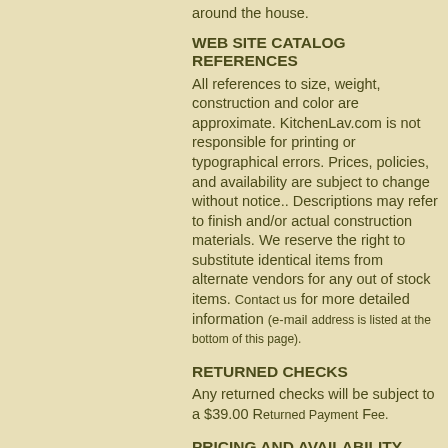around the house.
WEB SITE CATALOG REFERENCES
All references to size, weight, construction and color are approximate. KitchenLav.com is not responsible for printing or typographical errors. Prices, policies, and availability are subject to change without notice.. Descriptions may refer to finish and/or actual construction materials. We reserve the right to substitute identical items from alternate vendors for any out of stock items. Contact us for more detailed information (e-mail address is listed at the bottom of this page).
RETURNED CHECKS
Any returned checks will be subject to a $39.00 Returned Payment Fee.
PRICING AND AVAILABILITY